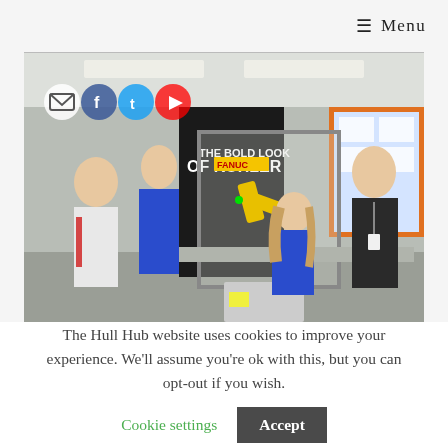≡ Menu
[Figure (photo): Four people standing around a FANUC industrial robotic arm on a workbench in a classroom/lab setting. Two students in blue lab coats, one bald man in a white shirt with a red lanyard, and one man in a dark shirt with a lanyard. Background shows a 'THE BOLD LOOK OF KOHLER' banner and a bulletin board.]
The Hull Hub website uses cookies to improve your experience. We'll assume you're ok with this, but you can opt-out if you wish.   Cookie settings   Accept